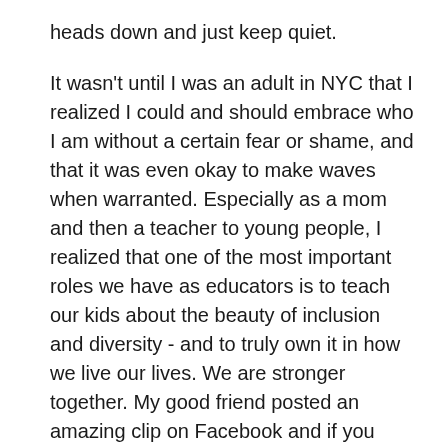heads down and just keep quiet.

It wasn't until I was an adult in NYC that I realized I could and should embrace who I am without a certain fear or shame, and that it was even okay to make waves when warranted. Especially as a mom and then a teacher to young people, I realized that one of the most important roles we have as educators is to teach our kids about the beauty of inclusion and diversity - and to truly own it in how we live our lives. We are stronger together. My good friend posted an amazing clip on Facebook and if you haven't seen it, please check it out: Oscar Hammerstein introduces “You've Got to be Taught”